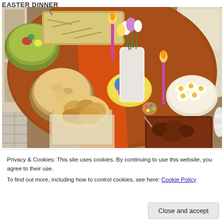EASTER DINNER
[Figure (photo): A dining table set for Easter dinner with an orange table runner, various dishes including a bowl of macaroni/pasta salad, a casserole dish, colorful Easter eggs on a yellow plate, a vase of spring flowers (tulips), two lit pink candles, deviled eggs on a plate, a basket of rolls wrapped in a napkin, a dish of roasted meat, and a bowl of salad. Wooden chairs visible in background.]
Privacy & Cookies: This site uses cookies. By continuing to use this website, you agree to their use.
To find out more, including how to control cookies, see here: Cookie Policy
Close and accept